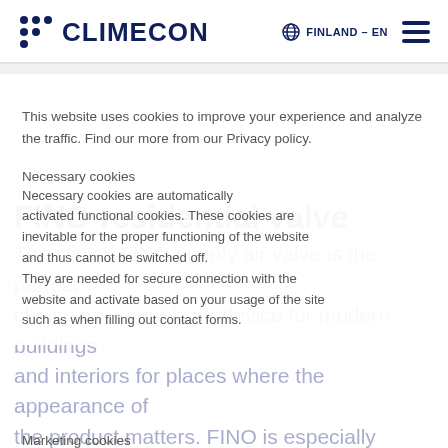CLIMECON — FINLAND - EN
This website uses cookies to improve your experience and analyze the traffic. Find our more from our Privacy policy.
Necessary cookies
Necessary cookies are automatically activated functional cookies. These cookies are inevitable for the proper functioning of the website and thus cannot be switched off. They are needed for secure connection with the website and activate based on your usage of the site such as when filling out contact forms.
FINO residential valve
The stylish FINO supply air valve is the perfect choice as a supply air device for modern buildings and interiors for places where the appearance of the product matters. FINO is especially suitable for small airflows, combines a very low constructional height, quiet performance, a smooth surface, and a
Marketing cookies